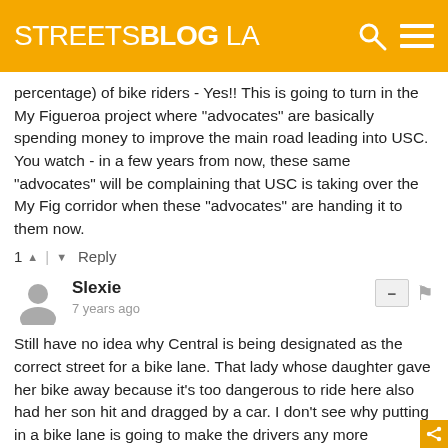STREETSBLOG LA
percentage) of bike riders - Yes!! This is going to turn in the My Figueroa project where "advocates" are basically spending money to improve the main road leading into USC. You watch - in a few years from now, these same "advocates" will be complaining that USC is taking over the My Fig corridor when these "advocates" are handing it to them now.
1 ^ | v Reply
Slexie
7 years ago
Still have no idea why Central is being designated as the correct street for a bike lane. That lady whose daughter gave her bike away because it's too dangerous to ride here also had her son hit and dragged by a car. I don't see why putting in a bike lane is going to make the drivers any more cautious. The 3-ft rule is basically useless, because the police have already said they will not accept any film or pictures as evidence of anyone violating the 3-ft rule. So unless they see